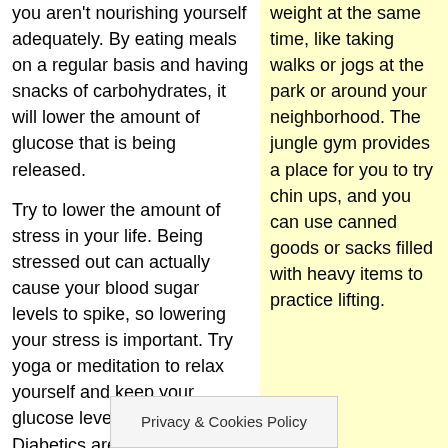you aren't nourishing yourself adequately. By eating meals on a regular basis and having snacks of carbohydrates, it will lower the amount of glucose that is being released.
weight at the same time, like taking walks or jogs at the park or around your neighborhood. The jungle gym provides a place for you to try chin ups, and you can use canned goods or sacks filled with heavy items to practice lifting.
Try to lower the amount of stress in your life. Being stressed out can actually cause your blood sugar levels to spike, so lowering your stress is important. Try yoga or meditation to relax yourself and keep your glucose levels in check. Diabetics are prone to high blood pressure, so learn some deep breathing techniques to reduce the stress that can lead to high blood pressure.
You really need to take time to monitor each thing that you d...
Privacy & Cookies Policy